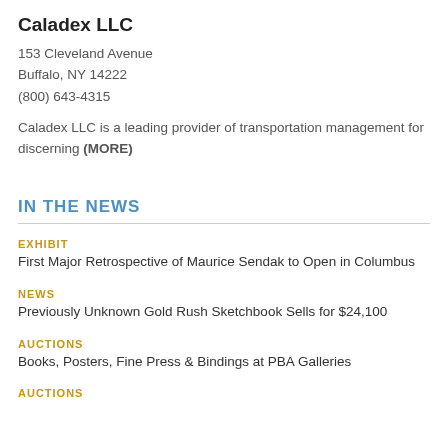Caladex LLC
153 Cleveland Avenue
Buffalo, NY 14222
(800) 643-4315
Caladex LLC is a leading provider of transportation management for discerning (MORE)
IN THE NEWS
EXHIBIT
First Major Retrospective of Maurice Sendak to Open in Columbus
NEWS
Previously Unknown Gold Rush Sketchbook Sells for $24,100
AUCTIONS
Books, Posters, Fine Press & Bindings at PBA Galleries
AUCTIONS